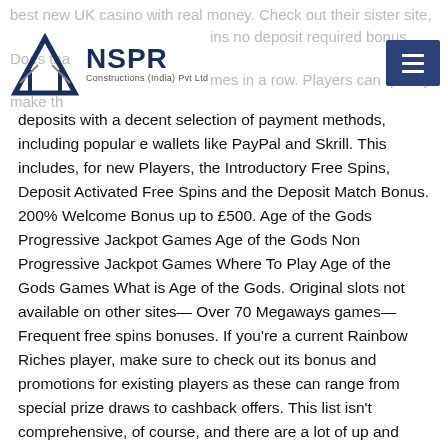best new UK casino with real money. Check out their sister site, [logo: NSPR Constructions (India) Pvt Ltd] ins no deposit required bonus. Does tha mes in a row. Players can quickly make th
deposits with a decent selection of payment methods, including popular e wallets like PayPal and Skrill. This includes, for new Players, the Introductory Free Spins, Deposit Activated Free Spins and the Deposit Match Bonus. 200% Welcome Bonus up to £500. Age of the Gods Progressive Jackpot Games Age of the Gods Non Progressive Jackpot Games Where To Play Age of the Gods Games What is Age of the Gods. Original slots not available on other sites— Over 70 Megaways games— Frequent free spins bonuses. If you're a current Rainbow Riches player, make sure to check out its bonus and promotions for existing players as these can range from special prize draws to cashback offers. This list isn't comprehensive, of course, and there are a lot of up and coming providers that are worth paying attention to. 20 x bonus of £10; you elect to stake £10 on a slots game; as you do not have enough Cashable Credit to cover your stake, the remaining £5 50% will be deducted from your Bonus Credit and your Bonus Credit Wagering Requirement Balance